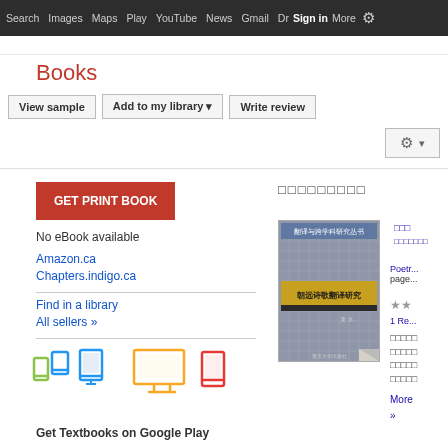Search  Images  Maps  Play  YouTube  News  Gmail  Drive  More  Sign in
Books
View sample | Add to my library | Write review
GET PRINT BOOK
□□□□□□□□□
No eBook available
Amazon.ca
Chapters.indigo.ca
Find in a library
All sellers »
[Figure (illustration): Book cover image for a Chinese poetry translation study book]
1 Re...
More »
[Figure (illustration): Device icons: phone, tablet, tablet larger, monitor/desktop, small tablet - Get Textbooks on Google Play]
Get Textbooks on Google Play